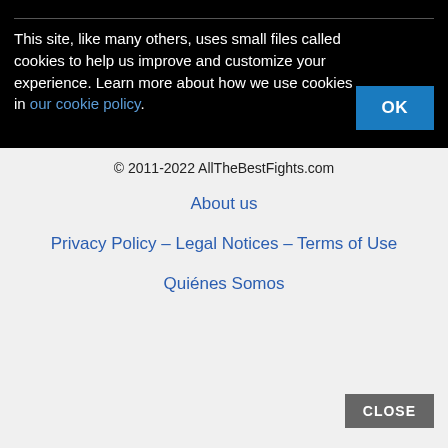This site, like many others, uses small files called cookies to help us improve and customize your experience. Learn more about how we use cookies in our cookie policy.
OK
© 2011-2022 AllTheBestFights.com
About us
Privacy Policy – Legal Notices – Terms of Use
Quiénes Somos
CLOSE